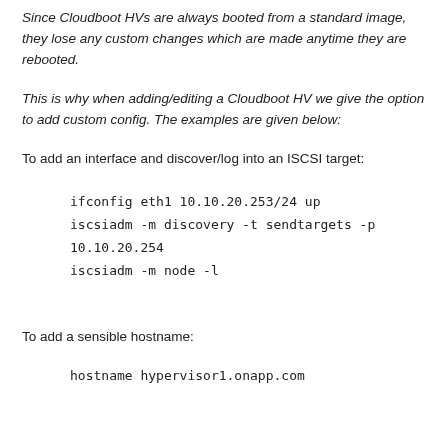Since Cloudboot HVs are always booted from a standard image, they lose any custom changes which are made anytime they are rebooted.
This is why when adding/editing a Cloudboot HV we give the option to add custom config. The examples are given below:
To add an interface and discover/log into an ISCSI target:
ifconfig eth1 10.10.20.253/24 up
iscsiadm -m discovery -t sendtargets -p 10.10.20.254
iscsiadm -m node -l
To add a sensible hostname:
hostname hypervisor1.onapp.com